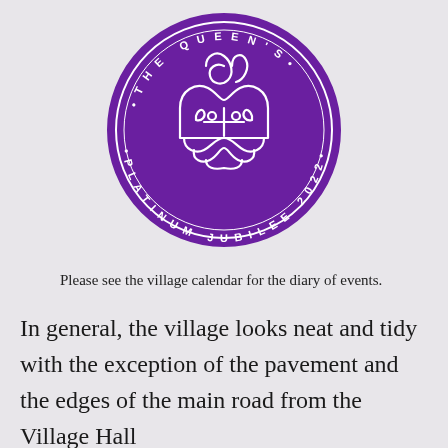[Figure (logo): The Queen's Platinum Jubilee 2022 circular logo with crown design in purple]
Please see the village calendar for the diary of events.
In general, the village looks neat and tidy with the exception of the pavement and the edges of the main road from the Village Hall